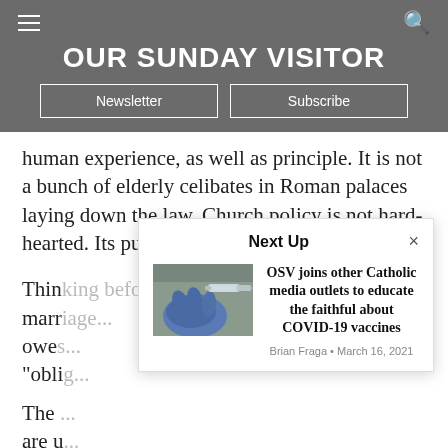OUR SUNDAY VISITOR
human experience, as well as principle. It is not a bunch of elderly celibates in Roman palaces laying down the law. Church policy is not hard-hearted. Its purpose is to avoid future pain.
Thin king before marriage occurs about what marr... owe... "oblig...
[Figure (screenshot): Next Up overlay panel with article teaser for 'OSV joins other Catholic media outlets to educate the faithful about COVID-19 vaccines' by Brian Fraga, March 16, 2021, with a thumbnail photo of a gloved hand holding a syringe.]
The ... are u...